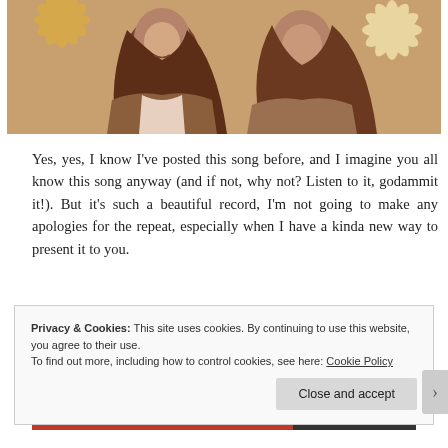[Figure (illustration): Stylized illustration of two women with long dark hair, rendered in brown, tan, and cream tones with decorative flower/sunburst motifs in the background.]
Yes, yes, I know I've posted this song before, and I imagine you all know this song anyway (and if not, why not? Listen to it, godammit it!). But it's such a beautiful record, I'm not going to make any apologies for the repeat, especially when I have a kinda new way to present it to you.
Privacy & Cookies: This site uses cookies. By continuing to use this website, you agree to their use.
To find out more, including how to control cookies, see here: Cookie Policy
Close and accept